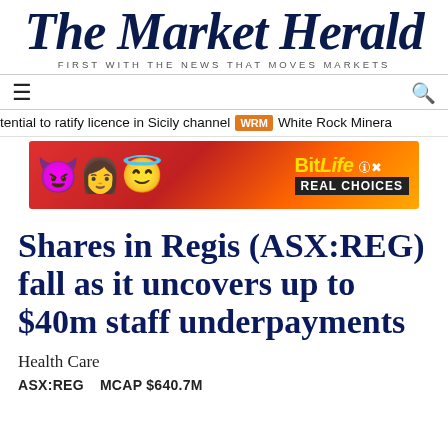The Market Herald
FIRST WITH THE NEWS THAT MOVES MARKETS
tential to ratify licence in Sicily channel  WRM  White Rock Minera
[Figure (illustration): BitLife game advertisement banner with emoji characters (devil, woman, angel/halo emoji) on red/orange background, 'BitLife REAL CHOICES' branding]
Shares in Regis (ASX:REG) fall as it uncovers up to $40m staff underpayments
Health Care
ASX:REG    MCAP $640.7M